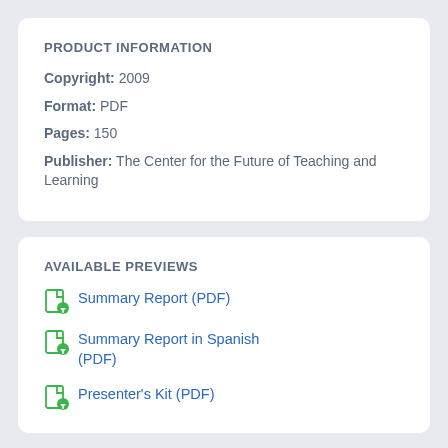PRODUCT INFORMATION
Copyright: 2009
Format: PDF
Pages: 150
Publisher: The Center for the Future of Teaching and Learning
AVAILABLE PREVIEWS
Summary Report (PDF)
Summary Report in Spanish (PDF)
Presenter's Kit (PDF)